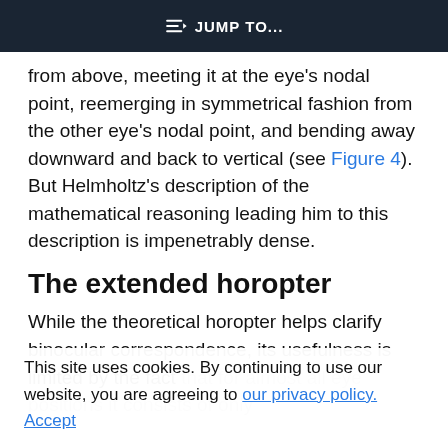JUMP TO...
from above, meeting it at the eye's nodal point, reemerging in symmetrical fashion from the other eye's nodal point, and bending away downward and back to vertical (see Figure 4). But Helmholtz's description of the mathematical reasoning leading him to this description is impenetrably dense.
The extended horopter
While the theoretical horopter helps clarify binocular correspondence, its usefulness is limited by the fact that for almost all eye positions it consists of only
This site uses cookies. By continuing to use our website, you are agreeing to our privacy policy. Accept